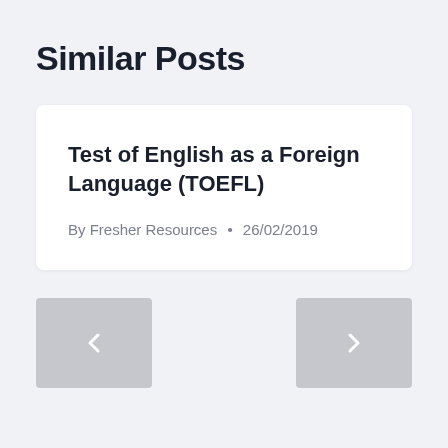Similar Posts
Test of English as a Foreign Language (TOEFL)
By Fresher Resources • 26/02/2019